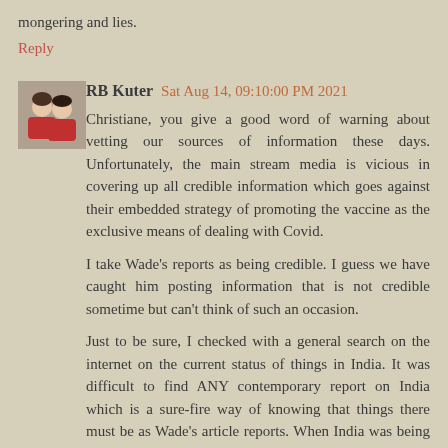mongering and lies.
Reply
RB Kuter  Sat Aug 14, 09:10:00 PM 2021
Christiane, you give a good word of warning about vetting our sources of information these days. Unfortunately, the main stream media is vicious in covering up all credible information which goes against their embedded strategy of promoting the vaccine as the exclusive means of dealing with Covid.
I take Wade's reports as being credible. I guess we have caught him posting information that is not credible sometime but can't think of such an occasion.
Just to be sure, I checked with a general search on the internet on the current status of things in India. It was difficult to find ANY contemporary report on India which is a sure-fire way of knowing that things there must be as Wade's article reports. When India was being ravaged by COVID, the iv...